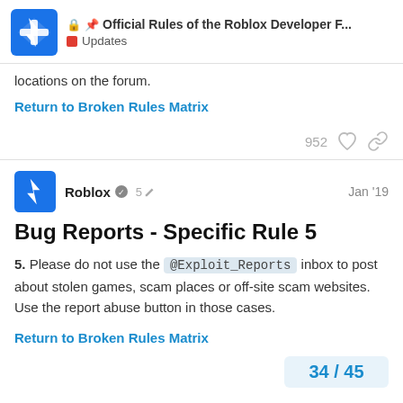🔒📌 Official Rules of the Roblox Developer F... | Updates
locations on the forum.
Return to Broken Rules Matrix
952 ♡ 🔗
Roblox 🛡 5 ✏ Jan '19
Bug Reports - Specific Rule 5
5. Please do not use the @Exploit_Reports inbox to post about stolen games, scam places or off-site scam websites. Use the report abuse button in those cases.
Return to Broken Rules Matrix
34 / 45